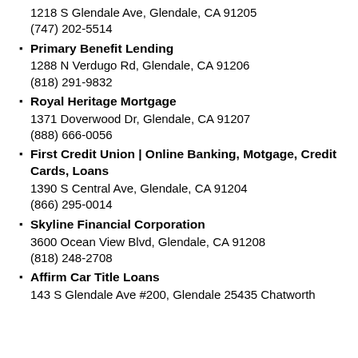Primary Benefit Lending
1288 N Verdugo Rd, Glendale, CA 91206
(818) 291-9832
Royal Heritage Mortgage
1371 Doverwood Dr, Glendale, CA 91207
(888) 666-0056
First Credit Union | Online Banking, Motgage, Credit Cards, Loans
1390 S Central Ave, Glendale, CA 91204
(866) 295-0014
Skyline Financial Corporation
3600 Ocean View Blvd, Glendale, CA 91208
(818) 248-2708
Affirm Car Title Loans
143 S Glendale Ave #200, Glendale 25435 Chatworth